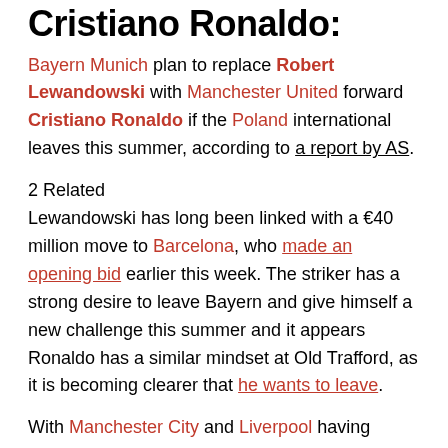Cristiano Ronaldo:
Bayern Munich plan to replace Robert Lewandowski with Manchester United forward Cristiano Ronaldo if the Poland international leaves this summer, according to a report by AS.
2 Related
Lewandowski has long been linked with a €40 million move to Barcelona, who made an opening bid earlier this week. The striker has a strong desire to leave Bayern and give himself a new challenge this summer and it appears Ronaldo has a similar mindset at Old Trafford, as it is becoming clearer that he wants to leave.
With Manchester City and Liverpool having signed Erling Haaland and Darwin Nunez respectively, Ronaldo is losing faith that he can win titles with the